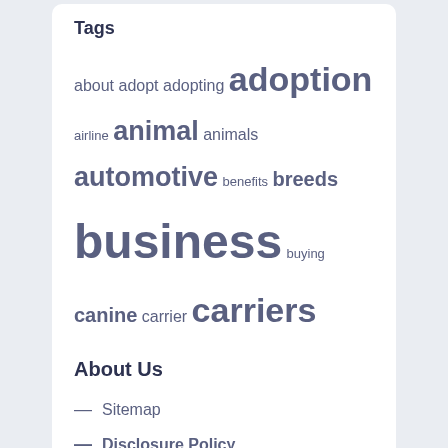Tags
about adopt adopting adoption airline animal animals automotive benefits breeds business buying canine carrier carriers college cooking covid department division education estate exotic faculty fashion finest health house improvement information institute leisure market online provider puppies puppy rescue science service shelter small store technology travel
About Us
Sitemap
Disclosure Policy